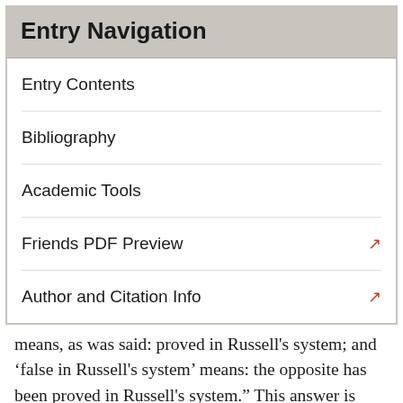Entry Navigation
Entry Contents
Bibliography
Academic Tools
Friends PDF Preview
Author and Citation Info
means, as was said: proved in Russell’s system; and ‘false in Russell’s system’ means: the opposite has been proved in Russell’s system.”  This answer is given in a slightly different way at (§7) where Wittgenstein asks “may there not be true propositions which are written in this [Russell’s] symbolism, but are not provable in Russell’s system?”, and then answers “‘True propositions’, hence propositions which are true in another system, i.e. can rightly be asserted in another game.”  In light of what he says in (§§5, 6, and 8), Wittgenstein’s (§7) point is that if a proposition is ‘written’ in “Russell’s symbolism” and it